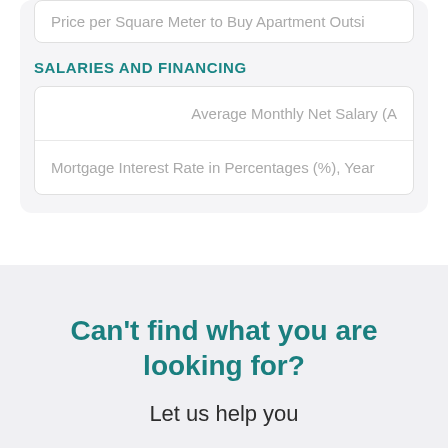Price per Square Meter to Buy Apartment Outsi…
SALARIES AND FINANCING
| Average Monthly Net Salary (A… |
| Mortgage Interest Rate in Percentages (%), Year… |
Can't find what you are looking for?
Let us help you